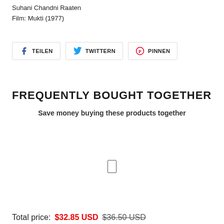Suhani Chandni Raaten
Film: Mukti (1977)
[Figure (other): Social sharing buttons: TEILEN (Facebook), TWITTERN (Twitter), PINNEN (Pinterest)]
FREQUENTLY BOUGHT TOGETHER
Save money buying these products together
[Figure (other): Product bundle area with a small checkbox/tick icon in the center]
Total price: $32.85 USD  $36.50 USD (strikethrough)